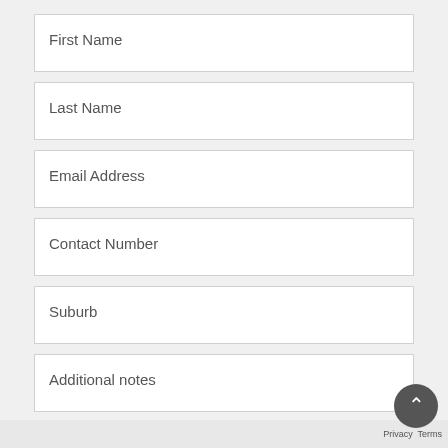First Name
Last Name
Email Address
Contact Number
Suburb
Additional notes
SUBMIT
Privacy  Terms